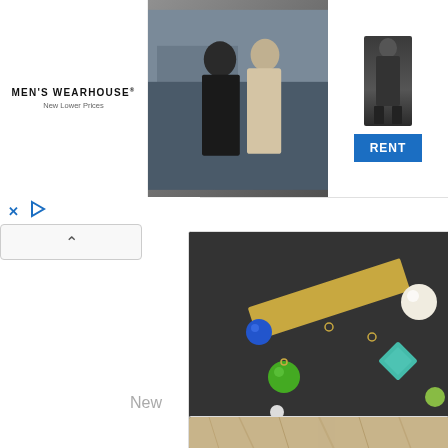[Figure (photo): Men's Wearhouse advertisement banner showing a couple in formal wear (man in dark suit, woman in light dress) and a man in a suit with a blue RENT button]
[Figure (photo): Close-up photo of handmade jewelry piece - Unearthed Necklace featuring a brass bar with colorful beads including green, blue, teal, white, and black beads on a dark background]
Unearthed Necklace
New
[Figure (photo): Partial view of a second product photo showing light-colored wooden or natural material texture]